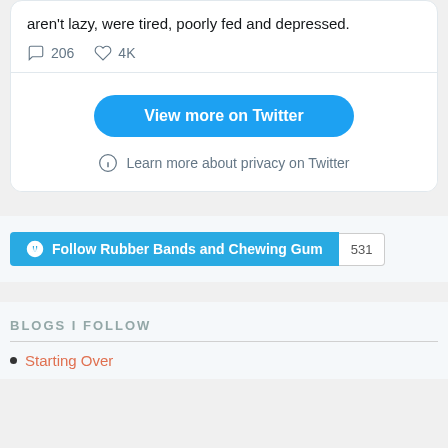aren't lazy, were tired, poorly fed and depressed.
206   4K
View more on Twitter
Learn more about privacy on Twitter
Follow Rubber Bands and Chewing Gum   531
BLOGS I FOLLOW
Starting Over